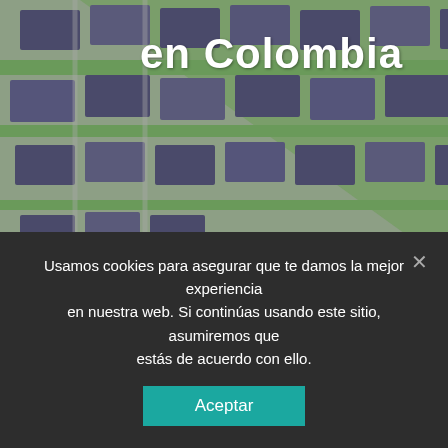en Colombia
[Figure (photo): Aerial view of residential construction site with rows of houses and earth excavation in Colombia]
Blog
Webinar: Acre credits Plaid with dynamic infrastructure for success
3 días atrás  admin
Usamos cookies para asegurar que te damos la mejor experiencia en nuestra web. Si continúas usando este sitio, asumiremos que estás de acuerdo con ello.
Aceptar